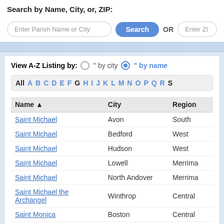Search by Name, City, or, ZIP:
[Figure (screenshot): Search input field with placeholder 'Enter Parish Name or City', a blue Search button, OR text, and a ZIP input field]
View A-Z Listing by: ○ " by city ● " by name
All A B C D E F G H I J K L M N O P Q R S
| Name ▲ | City | Region |
| --- | --- | --- |
| Saint Michael | Avon | South |
| Saint Michael | Bedford | West |
| Saint Michael | Hudson | West |
| Saint Michael | Lowell | Merrima |
| Saint Michael | North Andover | Merrima |
| Saint Michael the Archangel | Winthrop | Central |
| Saint Monica | Boston | Central |
| Saint Monica | Methuen | Merrima |
| Saint Oscar Romero | Canton | South |
| Saint Patrick | Roxbury | Central |
| Saint Patrick | Brockton | South |
| Saint Patrick | Lawrence | Merrima |